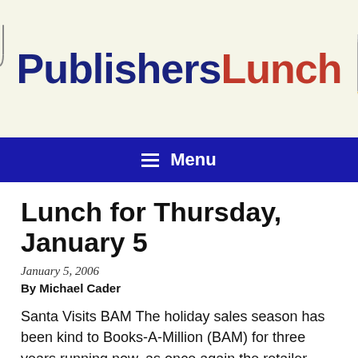[Figure (logo): PublishersLunch logo with fork icon on left and pencil icon on right. 'Publishers' in dark navy blue bold text, 'Lunch' in red bold text.]
Menu
Lunch for Thursday, January 5
January 5, 2006
By Michael Cader
Santa Visits BAM The holiday sales season has been kind to Books-A-Million (BAM) for three years running now, as once again the retailer recovered from a bad third quarter to enjoy a solid year-end increase. Same-store sales rose